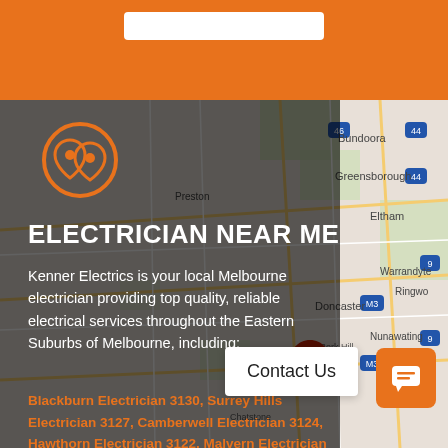[Figure (map): Google Map showing Eastern Suburbs of Melbourne, Australia, with location pin near Camberwell area. Suburbs visible include Bundoora, Greensborough, Eltham, Preston, Doncaster, Camberwell, Nunawading, Ringwood, Warrandyte, Wantirn.]
[Figure (logo): Electrician Near Me logo - orange circle with two location pin shapes forming a face]
ELECTRICIAN NEAR ME
Kenner Electrics is your local Melbourne electrician providing top quality, reliable electrical services throughout the Eastern Suburbs of Melbourne, including:
Blackburn Electrician 3130, Surrey Hills Electrician 3127, Camberwell Electrician 3124, Hawthorn Electrician 3122, Malvern Electrician 3144, Box Hill Electrician 3128, Burwood Electrician 3125, Glen Iris Electrician, Mount Waverley Electrician 3149,
Contact Us